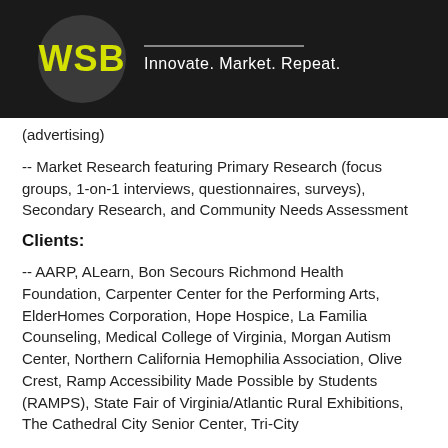[Figure (logo): WSB logo: dark circle with yellow bold 'WSB' text, next to tagline 'Innovate. Market. Repeat.' in white on black background header bar]
(advertising)
-- Market Research featuring Primary Research (focus groups, 1-on-1 interviews, questionnaires, surveys), Secondary Research, and Community Needs Assessment
Clients:
-- AARP, ALearn, Bon Secours Richmond Health Foundation, Carpenter Center for the Performing Arts, ElderHomes Corporation, Hope Hospice, La Familia Counseling, Medical College of Virginia, Morgan Autism Center, Northern California Hemophilia Association, Olive Crest, Ramp Accessibility Made Possible by Students (RAMPS), State Fair of Virginia/Atlantic Rural Exhibitions, The Cathedral City Senior Center, Tri-City